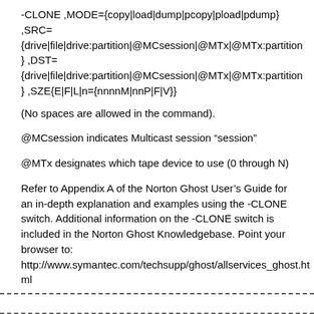-CLONE ,MODE={copy|load|dump|pcopy|pload|pdump} ,SRC= {drive|file|drive:partition|@MCsession|@MTx|@MTx:partition} ,DST= {drive|file|drive:partition|@MCsession|@MTx|@MTx:partition} ,SZE{E|F|L|n={nnnnM|nnP|F|V}}
(No spaces are allowed in the command).
@MCsession indicates Multicast session “session”
@MTx designates which tape device to use (0 through N)
Refer to Appendix A of the Norton Ghost User’s Guide for an in-depth explanation and examples using the -CLONE switch. Additional information on the -CLONE switch is included in the Norton Ghost Knowledgebase. Point your browser to: http://www.symantec.com/techsupp/ghost/allservices_ghost.html